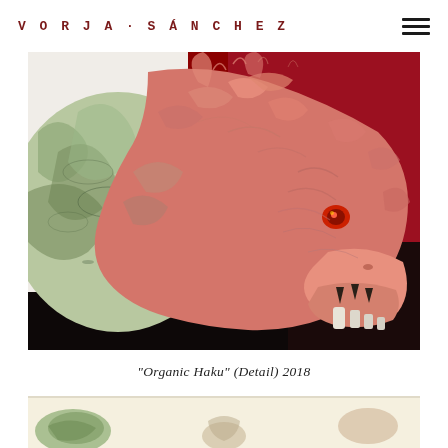VORJA - SÁNCHEZ
[Figure (illustration): Detailed illustration of a dragon-like creature head (Haku from Spirited Away) with swirling fur/scales in pink/salmon tones against a red background. The creature has an open mouth with sharp black teeth and a glowing red eye. The body transitions from green swirling patterns on the left to pink organic textures on the right.]
"Organic Haku" (Detail) 2018
[Figure (illustration): Partial view of a second artwork on cream/beige background with figures and organic elements, partially visible at the bottom of the page.]